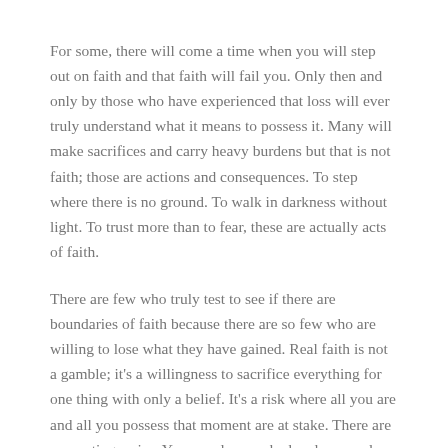For some, there will come a time when you will step out on faith and that faith will fail you. Only then and only by those who have experienced that loss will ever truly understand what it means to possess it. Many will make sacrifices and carry heavy burdens but that is not faith; those are actions and consequences. To step where there is no ground. To walk in darkness without light. To trust more than to fear, these are actually acts of faith.
There are few who truly test to see if there are boundaries of faith because there are so few who are willing to lose what they have gained. Real faith is not a gamble; it's a willingness to sacrifice everything for one thing with only a belief. It's a risk where all you are and all you possess that moment are at stake. There are no contingencies. You are alone, naked and exposed before all others.